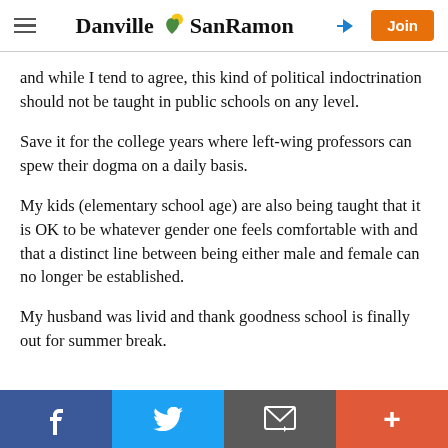Danville SanRamon — header with hamburger menu, logo, login arrow, and Join button
and while I tend to agree, this kind of political indoctrination should not be taught in public schools on any level.
Save it for the college years where left-wing professors can spew their dogma on a daily basis.
My kids (elementary school age) are also being taught that it is OK to be whatever gender one feels comfortable with and that a distinct line between being either male and female can no longer be established.
My husband was livid and thank goodness school is finally out for summer break.
Social share bar: Facebook, Twitter, Email, More